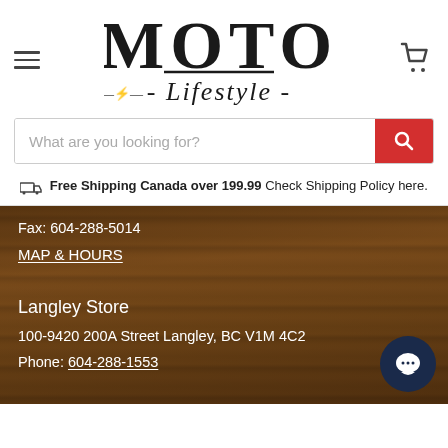[Figure (logo): MOTO Lifestyle logo with bold hand-lettered MOTO text and italic script 'Lifestyle' below with decorative arrows]
[Figure (screenshot): Search bar with placeholder text 'What are you looking for?' and red search button with magnifying glass icon]
Free Shipping Canada over 199.99 Check Shipping Policy here.
Fax: 604-288-5014
MAP & HOURS
Langley Store
100-9420 200A Street Langley, BC V1M 4C2
Phone: 604-288-1553